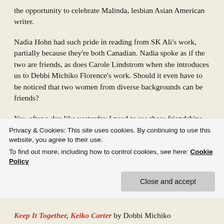the opportunity to celebrate Malinda, lesbian Asian American writer.
Nadia Hohn had such pride in reading from SK Ali's work, partially because they're both Canadian. Nadia spoke as if the two are friends, as does Carole Lindstrom when she introduces us to Debbi Michiko Florence's work. Should it even have to be noticed that two women from diverse backgrounds can be friends?
Yes, after a day like yesterday I need to see these friendships, these doses of anti-racism so that I can breathe. So that my Asian American and Pacific Island...
Privacy & Cookies: This site uses cookies. By continuing to use this website, you agree to their use.
To find out more, including how to control cookies, see here: Cookie Policy
Close and accept
Keep It Together, Keiko Carter by Dobbi Michiko